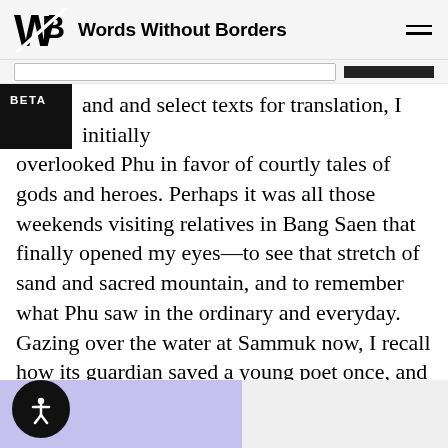Words Without Borders
and and select texts for translation, I initially overlooked Phu in favor of courtly tales of gods and heroes. Perhaps it was all those weekends visiting relatives in Bang Saen that finally opened my eyes—to see that stretch of sand and sacred mountain, and to remember what Phu saw in the ordinary and everyday. Gazing over the water at Sammuk now, I recall how its guardian saved a young poet once, and hope that she'll bless his translator, too.